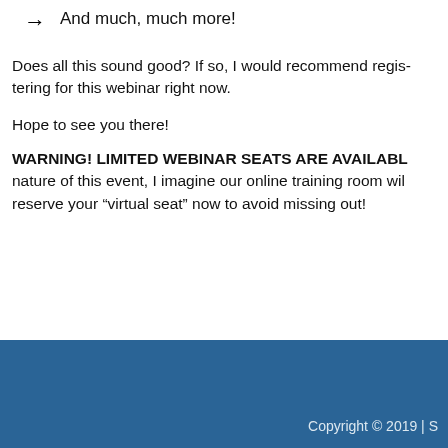And much, much more!
Does all this sound good? If so, I would recommend registering for this webinar right now.
Hope to see you there!
WARNING! LIMITED WEBINAR SEATS ARE AVAILABLE! Due to the nature of this event, I imagine our online training room will fill up fast. Please reserve your “virtual seat” now to avoid missing out!
Copyright © 2019 | S